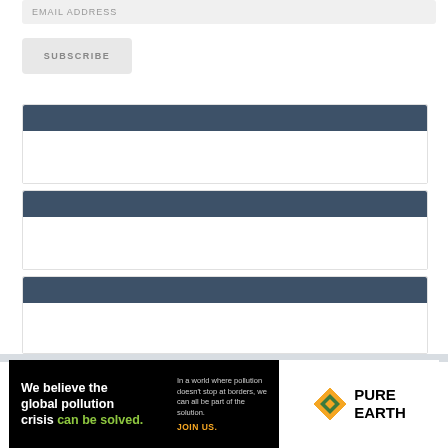EMAIL ADDRESS
SUBSCRIBE
[Figure (other): Collapsed section block 1 with dark blue header bar]
[Figure (other): Collapsed section block 2 with dark blue header bar]
[Figure (other): Collapsed section block 3 with dark blue header bar]
[Figure (other): Pure Earth advertisement banner: 'We believe the global pollution crisis can be solved.' with Pure Earth logo]